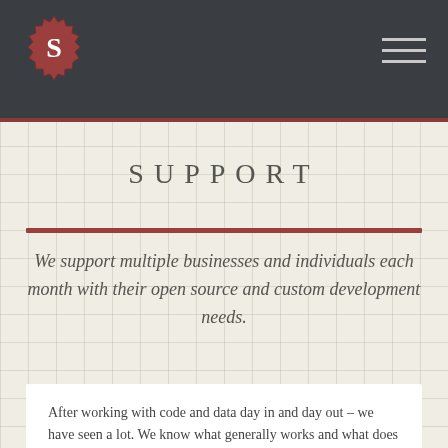S
SUPPORT
We support multiple businesses and individuals each month with their open source and custom development needs.
After working with code and data day in and day out – we have seen a lot. We know what generally works and what does not. Not only do we do custom development, but we also do ongoing maintenance